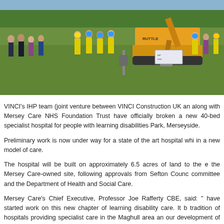[Figure (photo): Group of people standing outdoors on grass in front of a construction excavator (Ruttle), some in hi-vis vests and hard hats, others in business/casual wear. A sign is visible near the machine. Ground-breaking ceremony for a new specialist hospital.]
VINCI's IHP team (joint venture between VINCI Construction UK and along with Mersey Care NHS Foundation Trust have officially broken a new 40-bed specialist hospital for people with learning disabilities Park, Merseyside.
Preliminary work is now under way for a state of the art hospital whi in a new model of care.
The hospital will be built on approximately 6.5 acres of land to the e the Mersey Care-owned site, following approvals from Sefton Counc committee and the Department of Health and Social Care.
Mersey Care's Chief Executive, Professor Joe Rafferty CBE, said: " have started work on this new chapter of learning disability care. It b tradition of hospitals providing specialist care in the Maghull area an our development of Maghull Health Park as a Centre of Excelle...